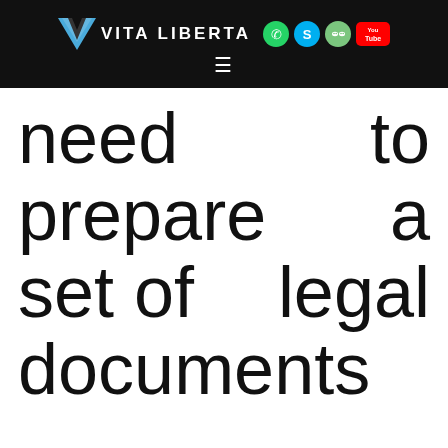VITA LIBERTA — navigation header with social icons (WhatsApp, Skype, WeChat, YouTube) and hamburger menu
need to prepare a set of legal documents